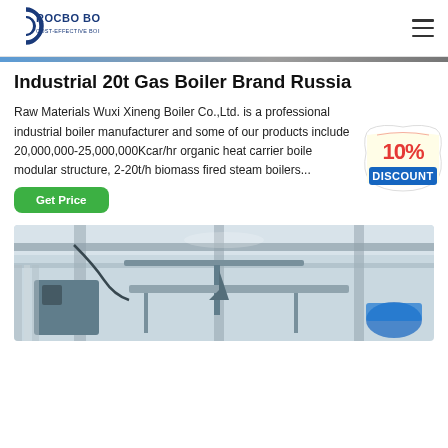[Figure (logo): Rocbo Boiler logo with text 'ROCBO BOILER' and tagline 'COST-EFFECTIVE BOILER SUPPLIER']
Industrial 20t Gas Boiler Brand Russia
Raw Materials Wuxi Xineng Boiler Co.,Ltd. is a professional industrial boiler manufacturer and some of our products include 20,000,000-25,000,000Kcar/hr organic heat carrier boile modular structure, 2-20t/h biomass fired steam boilers...
[Figure (infographic): 10% DISCOUNT badge in red and blue]
[Figure (photo): Industrial boiler manufacturing facility showing overhead equipment and machinery]